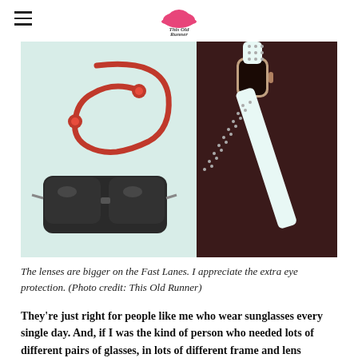This Old Runner (logo)
[Figure (photo): Flatlay photo showing red Bluetooth headphones, dark sunglasses, and a white smartwatch with black perforated band on a dark maroon/white background]
The lenses are bigger on the Fast Lanes. I appreciate the extra eye protection. (Photo credit: This Old Runner)
They're just right for people like me who wear sunglasses every single day. And, if I was the kind of person who needed lots of different pairs of glasses, in lots of different frame and lens combos, Knockaround could deliver. In budget.